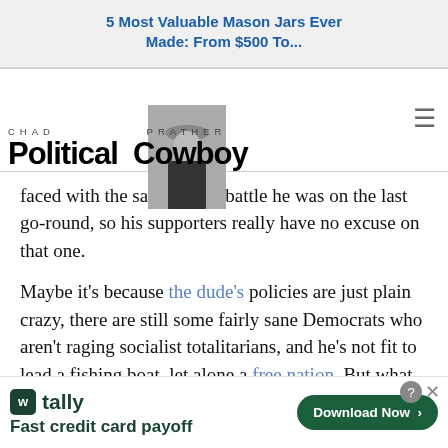5 Most Valuable Mason Jars Ever Made: From $500 To...
[Figure (logo): Chad Prather Political Cowboy logo with photo of man in cowboy hat]
faced with the same uphill battle he was on the last go-round, so his supporters really have no excuse on that one.
Maybe it’s because the dude’s policies are just plain crazy, there are still some fairly sane Democrats who aren’t raging socialist totalitarians, and he’s not fit to lead a fishing boat, let alone a free nation. But what do I
[Figure (infographic): Tally app advertisement: Fast credit card payoff. Download Now button.]